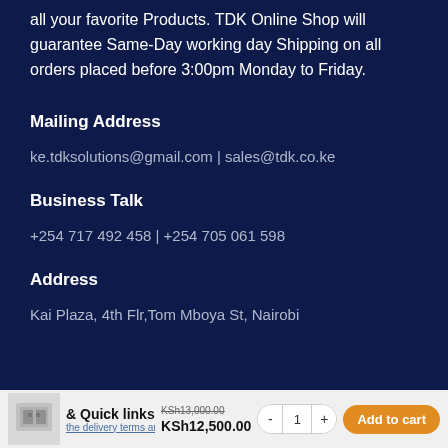all your favorite Products. TDK Online Shop will guarantee Same-Day working day Shipping on all orders placed before 3:00pm Monday to Friday.
Mailing Address
ke.tdksolutions@gmail.com | sales@tdk.co.ke
Business Talk
+254 717 492 458 | +254 705 061 598
Address
Kai Plaza, 4th Flr,Tom Mboya St, Nairobi
& Quick links
KSh 13,000.00  KSh 12,500.00
the delivery terms and Conditions